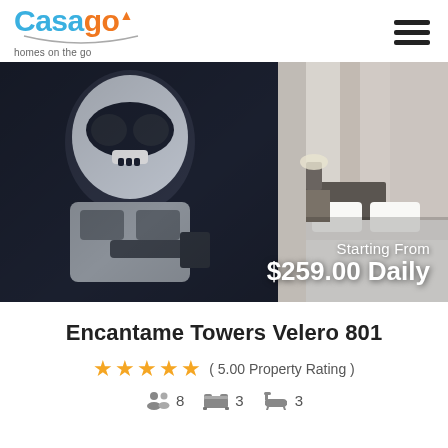[Figure (logo): Casago logo with 'homes on the go' tagline — 'Casa' in blue, 'go' in orange with a small house icon, arc underline, and hamburger menu icon top right]
[Figure (photo): Property photo showing a stormtrooper artwork painting on the left half and a bedroom with white bedding and gray curtains on the right half]
Starting From
$259.00 Daily
Encantame Towers Velero 801
★★★★★ ( 5.00 Property Rating )
👥 8   🛏 3   🛁 3